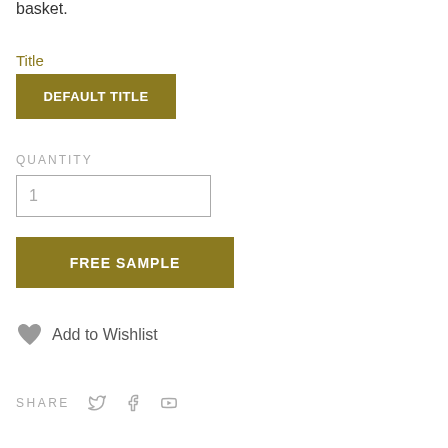basket.
Title
DEFAULT TITLE
QUANTITY
1
FREE SAMPLE
Add to Wishlist
SHARE